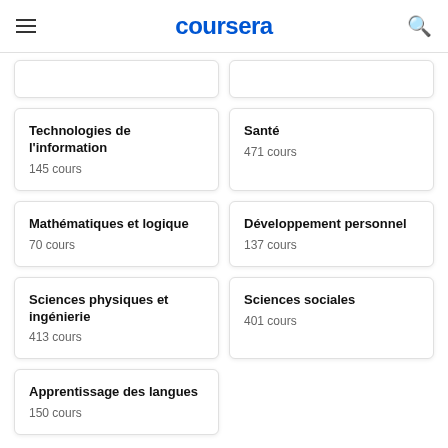coursera
Technologies de l'information
145 cours
Santé
471 cours
Mathématiques et logique
70 cours
Développement personnel
137 cours
Sciences physiques et ingénierie
413 cours
Sciences sociales
401 cours
Apprentissage des langues
150 cours